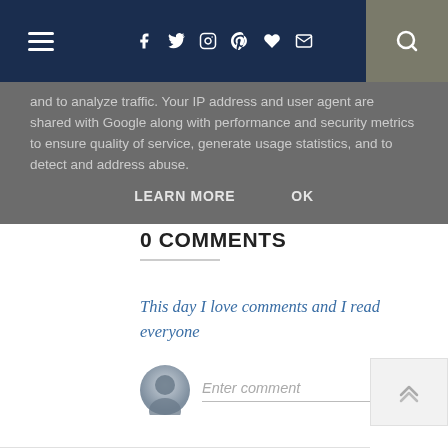Navigation bar with hamburger menu, social icons (f, twitter, instagram, pinterest, heart, mail), and search button
and to analyze traffic. Your IP address and user agent are shared with Google along with performance and security metrics to ensure quality of service, generate usage statistics, and to detect and address abuse.
LEARN MORE   OK
0 COMMENTS
This day I love comments and I read everyone
Enter comment